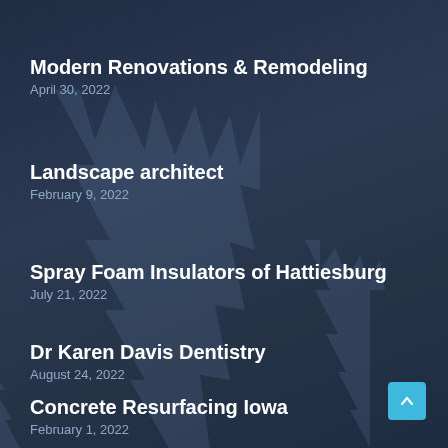Modern Renovations & Remodeling
April 30, 2022
Landscape architect
February 9, 2022
Spray Foam Insulators of Hattiesburg
July 21, 2022
Dr Karen Davis Dentistry
August 24, 2022
Concrete Resurfacing Iowa
February 1, 2022